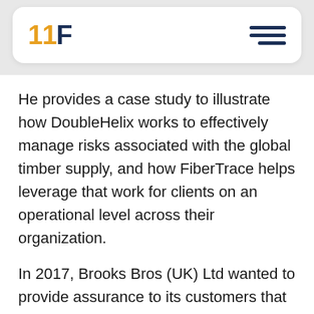[Figure (logo): 11F logo with navigation bar containing hamburger menu icon]
He provides a case study to illustrate how DoubleHelix works to effectively manage risks associated with the global timber supply, and how FiberTrace helps leverage that work for clients on an operational level across their organization.
In 2017, Brooks Bros (UK) Ltd wanted to provide assurance to its customers that its flooring products sourced from China were all manufactured from oak harvested from PEFC-certified forests in Western Europe, and not subject to mixing with other forest sources in any